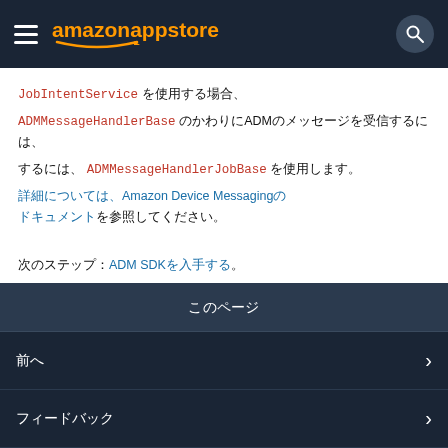amazon appstore
JobIntentService を使用する場合、 ADMMessageHandlerBase のかわりにADMのメッセージを受信するには、 ADMMessageHandlerJobBase を使用します。詳細については、Amazon Device Messaging のドキュメントを参照してください。
次のステップ：ADM SDKを入手する
このページ
前へ
フィードバック